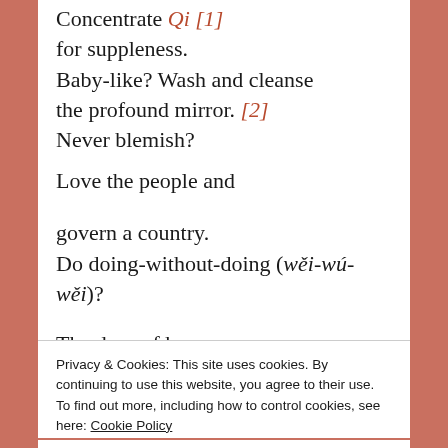Concentrate Qi [1]
for suppleness.
Baby-like? Wash and cleanse
the profound mirror. [2]
Never blemish?
Love the people and
gover a country.
Do doing-without-doing (wěi-wú-wěi)?
The door of heaven
Opens and closes.
Privacy & Cookies: This site uses cookies. By continuing to use this website, you agree to their use.
To find out more, including how to control cookies, see here: Cookie Policy
[Give birth to it,
Close and accept